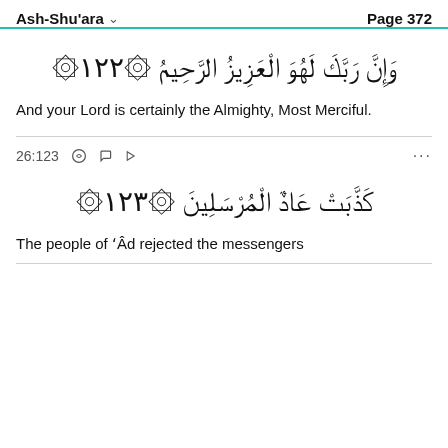Ash-Shu'ara  Page 372
وَإِنَّ رَبَّكَ لَهُوَ الْعَزِيزُ الرَّحِيمُ ۝١٢٢
And your Lord is certainly the Almighty, Most Merciful.
26:123
كَذَّبَتْ عَادٌ الْمُرْسَلِينَ ۝١٢٣
The people of ʻÂd rejected the messengers